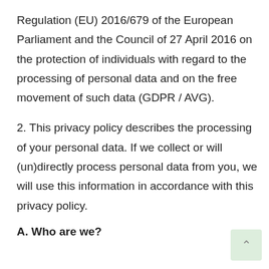Regulation (EU) 2016/679 of the European Parliament and the Council of 27 April 2016 on the protection of individuals with regard to the processing of personal data and on the free movement of such data (GDPR / AVG).
2. This privacy policy describes the processing of your personal data. If we collect or will (un)directly process personal data from you, we will use this information in accordance with this privacy policy.
A. Who are we?